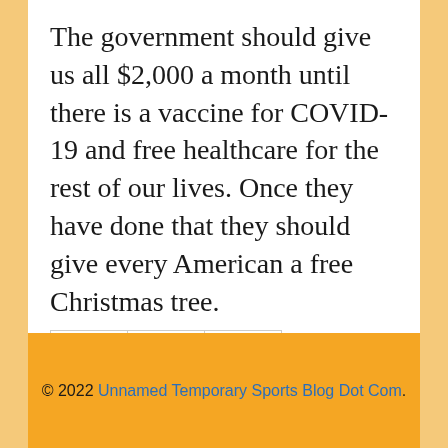The government should give us all $2,000 a month until there is a vaccine for COVID-19 and free healthcare for the rest of our lives. Once they have done that they should give every American a free Christmas tree.
[Figure (other): Three icon buttons in a row: a blue speech bubble/comment icon, a grey list/clipboard icon, and a grey person/user icon]
© 2022 Unnamed Temporary Sports Blog Dot Com.